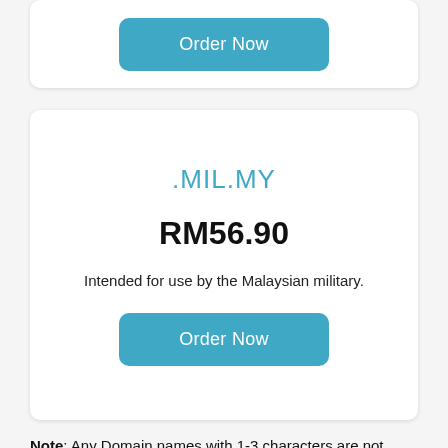[Figure (screenshot): Top card with an 'Order Now' teal button]
.MIL.MY
RM56.90
Intended for use by the Malaysian military.
Order Now
Note: Any Domain names with 1-3 characters are not available for public purchase.